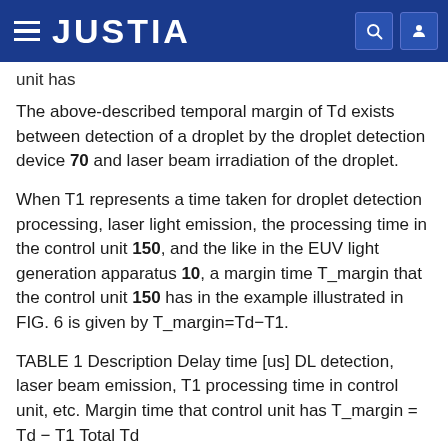JUSTIA
unit has
The above-described temporal margin of Td exists between detection of a droplet by the droplet detection device 70 and laser beam irradiation of the droplet.
When T1 represents a time taken for droplet detection processing, laser light emission, the processing time in the control unit 150, and the like in the EUV light generation apparatus 10, a margin time T_margin that the control unit 150 has in the example illustrated in FIG. 6 is given by T_margin=Td−T1.
TABLE 1 Description Delay time [us] DL detection, laser beam emission, T1 processing time in control unit, etc. Margin time that control unit has T_margin = Td − T1 Total Td